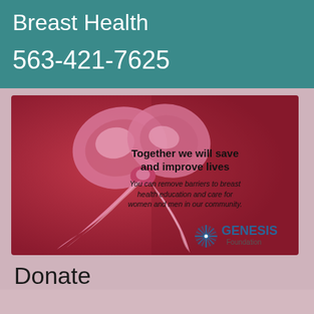Breast Health
563-421-7625
[Figure (infographic): Pink ribbon breast cancer awareness image with text 'Together we will save and improve lives' and 'You can remove barriers to breast health education and care for women and men in our community.' with Genesis Foundation logo.]
Donate